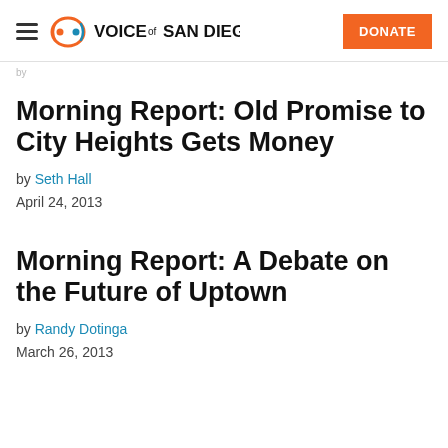Voice of San Diego | DONATE
by
Morning Report: Old Promise to City Heights Gets Money
by Seth Hall
April 24, 2013
Morning Report: A Debate on the Future of Uptown
by Randy Dotinga
March 26, 2013